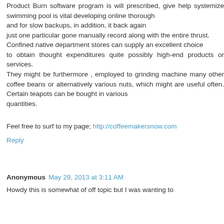Product Burn software program is will prescribed, give help systemize swimming pool is vital developing online thorough
and for slow backups, in addition, it back again
just one particular gone manually record along with the entire thrust.
Confined native department stores can supply an excellent choice
to obtain thought expenditures quite possibly high-end products or services.
They might be furthermore , employed to grinding machine many other coffee beans or alternatively various nuts, which might are useful often. Certain teapots can be bought in various
quantities.
Feel free to surf to my page; http://coffeemakersnow.com
Reply
Anonymous May 29, 2013 at 3:11 AM
Howdy this is somewhat of off topic but I was wanting to